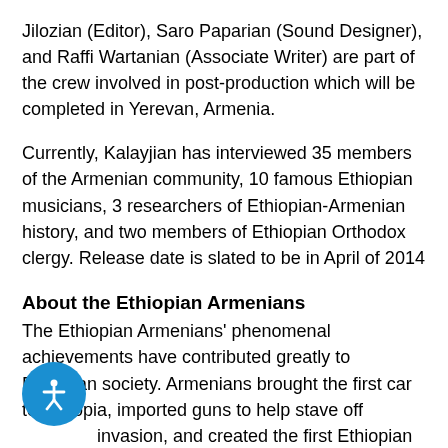Jilozian (Editor), Saro Paparian (Sound Designer), and Raffi Wartanian (Associate Writer) are part of the crew involved in post-production which will be completed in Yerevan, Armenia.
Currently, Kalayjian has interviewed 35 members of the Armenian community, 10 famous Ethiopian musicians, 3 researchers of Ethiopian-Armenian history, and two members of Ethiopian Orthodox clergy. Release date is slated to be in April of 2014
About the Ethiopian Armenians
The Ethiopian Armenians' phenomenal achievements have contributed greatly to Ethiopian society. Armenians brought the first car to Ethiopia, imported guns to help stave off invasion, and created the first Ethiopian national Forty Armenian Genocide survivors, orphaned and living in Jerusalem, were adopted by Emperor Haile